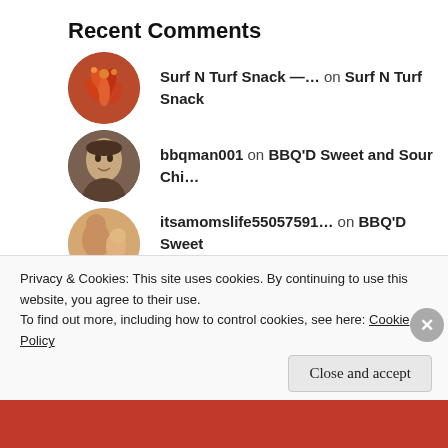Recent Comments
Surf N Turf Snack —… on Surf N Turf Snack
bbqman001 on BBQ'D Sweet and Sour Chi…
itsamomslife55057591… on BBQ'D Sweet and Sour Chi…
mistimaan on Container Gardening
mencanmakehomes on Texas Chili Stuffed
Privacy & Cookies: This site uses cookies. By continuing to use this website, you agree to their use.
To find out more, including how to control cookies, see here: Cookie Policy
Close and accept